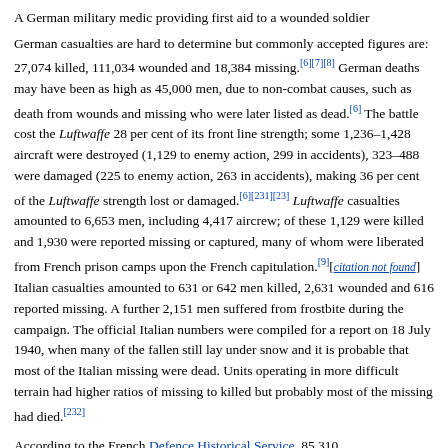A German military medic providing first aid to a wounded soldier
German casualties are hard to determine but commonly accepted figures are: 27,074 killed, 111,034 wounded and 18,384 missing.[6][7][8] German deaths may have been as high as 45,000 men, due to non-combat causes, such as death from wounds and missing who were later listed as dead.[6] The battle cost the Luftwaffe 28 per cent of its front line strength; some 1,236–1,428 aircraft were destroyed (1,129 to enemy action, 299 in accidents), 323–488 were damaged (225 to enemy action, 263 in accidents), making 36 per cent of the Luftwaffe strength lost or damaged.[6][231][23] Luftwaffe casualties amounted to 6,653 men, including 4,417 aircrew; of these 1,129 were killed and 1,930 were reported missing or captured, many of whom were liberated from French prison camps upon the French capitulation.[9][citation not found] Italian casualties amounted to 631 or 642 men killed, 2,631 wounded and 616 reported missing. A further 2,151 men suffered from frostbite during the campaign. The official Italian numbers were compiled for a report on 18 July 1940, when many of the fallen still lay under snow and it is probable that most of the Italian missing were dead. Units operating in more difficult terrain had higher ratios of missing to killed but probably most of the missing had died.[232]
According to the French Defence Historical Service, 85,310